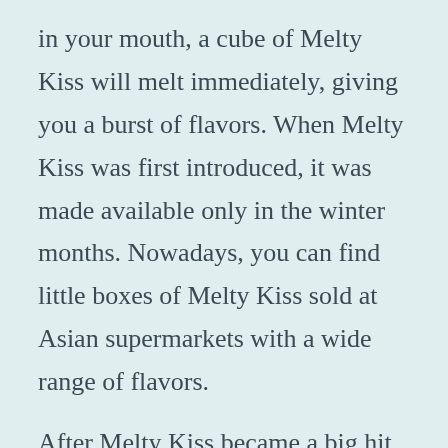in your mouth, a cube of Melty Kiss will melt immediately, giving you a burst of flavors. When Melty Kiss was first introduced, it was made available only in the winter months. Nowadays, you can find little boxes of Melty Kiss sold at Asian supermarkets with a wide range of flavors.
After Melty Kiss became a big hit in the sweet market, Royce's has been